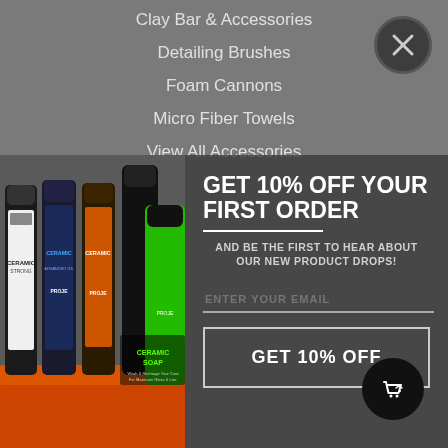Clay Bar & Accessories
Detailing Brushes
Foam Cannons
Micro Fiber Towels
View All Accessories
[Figure (screenshot): Popup modal overlay on a gray e-commerce website navigation page. Contains product image (PROJE ceramic car care spray bottles with orange microfiber towels), promotional headline 'GET 10% OFF YOUR FIRST ORDER', subtext 'AND BE THE FIRST TO HEAR ABOUT OUR NEW PRODUCT DROPS!', email input field labeled 'ENTER YOUR EMAIL', and a 'GET 10% OFF' button. Close (X) button in top right. Shopping cart icon in bottom right.]